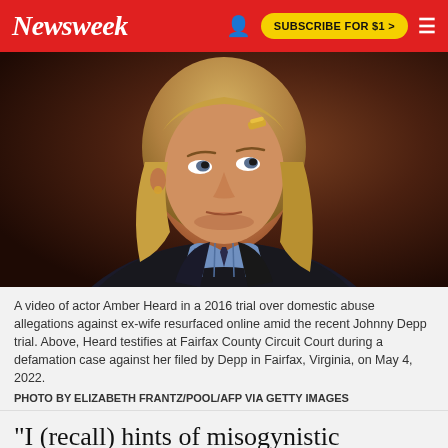Newsweek | SUBSCRIBE FOR $1 >
[Figure (photo): Amber Heard testifying at Fairfax County Circuit Court, looking upward with a serious expression, wearing a dark jacket over a striped shirt, with blonde wavy hair and a hair clip, against a wooden brown background.]
A video of actor Amber Heard in a 2016 trial over domestic abuse allegations against ex-wife resurfaced online amid the recent Johnny Depp trial. Above, Heard testifies at Fairfax County Circuit Court during a defamation case against her filed by Depp in Fairfax, Virginia, on May 4, 2022.
PHOTO BY ELIZABETH FRANTZ/POOL/AFP VIA GETTY IMAGES
"I (recall) hints of misogynistic attitudes toward